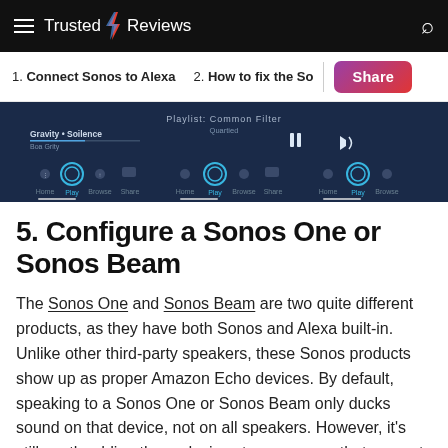Trusted Reviews
1. Connect Sonos to Alexa   2. How to fix the So   Share
[Figure (screenshot): Screenshot of a dark-themed Sonos/Alexa app interface showing music playback controls, track info 'Gravity - Soilence', pause/volume buttons, and three columns of navigation icons (Home, Commands, Alexa, Play, Browse, Share) on a dark navy background.]
5. Configure a Sonos One or Sonos Beam
The Sonos One and Sonos Beam are two quite different products, as they have both Sonos and Alexa built-in. Unlike other third-party speakers, these Sonos products show up as proper Amazon Echo devices. By default, speaking to a Sonos One or Sonos Beam only ducks sound on that device, not on all speakers. However, it's still worth adding these devices to a room, so that you get